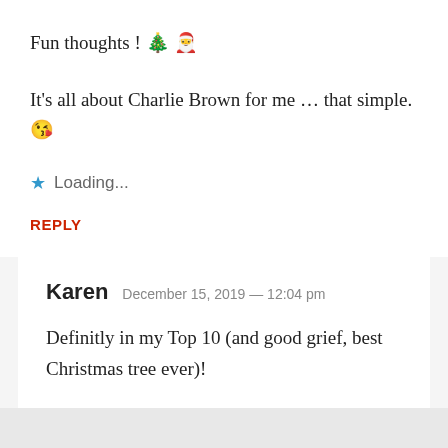Fun thoughts ! 🎄 🎅
It's all about Charlie Brown for me … that simple. 😘
★ Loading...
REPLY
Karen  December 15, 2019 — 12:04 pm
Definitly in my Top 10 (and good grief, best Christmas tree ever)!